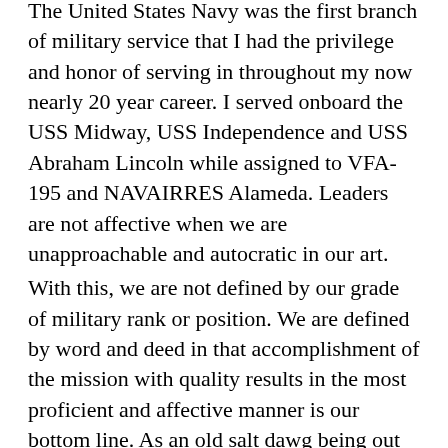The United States Navy was the first branch of military service that I had the privilege and honor of serving in throughout my now nearly 20 year career. I served onboard the USS Midway, USS Independence and USS Abraham Lincoln while assigned to VFA-195 and NAVAIRRES Alameda. Leaders are not affective when we are unapproachable and autocratic in our art.
With this, we are not defined by our grade of military rank or position. We are defined by word and deed in that accomplishment of the mission with quality results in the most proficient and affective manner is our bottom line. As an old salt dawg being out to sea thousands of miles from one's family is psychologically draining on our Martine fighting forces.
Captain Honor's intention was clearly to boost the morale of the men and woman in his charge. He also demonstrated the caring